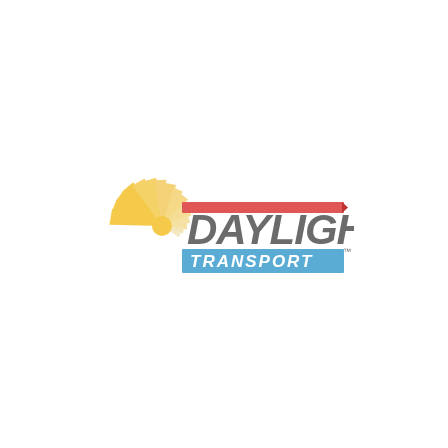[Figure (logo): Daylight Transport logo featuring a stylized golden/yellow sun arc on the left and the text 'DAYLIGHT' in large bold italic gray letters with a red stripe above and 'TRANSPORT' in white letters on a blue banner below, with a small TM mark.]